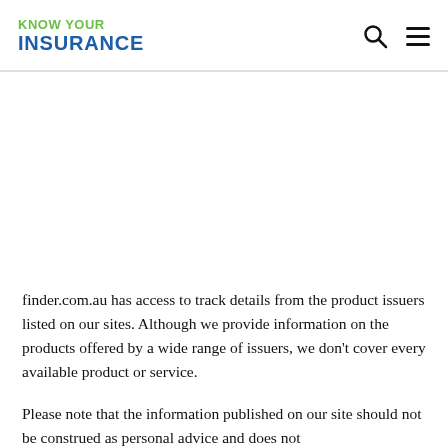KNOW YOUR INSURANCE
finder.com.au has access to track details from the product issuers listed on our sites. Although we provide information on the products offered by a wide range of issuers, we don't cover every available product or service.
Please note that the information published on our site should not be construed as personal advice and does not